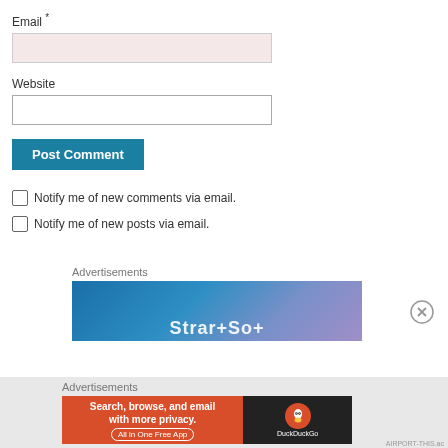Email *
[Figure (screenshot): Email input field with pinkish background]
Website
[Figure (screenshot): Website input field with white background]
Post Comment
Notify me of new comments via email.
Notify me of new posts via email.
Advertisements
[Figure (screenshot): Blue to purple gradient advertisement banner]
Advertisements
[Figure (screenshot): DuckDuckGo advertisement: Search, browse, and email with more privacy. All in One Free App]
AIRPORT-THIS.ac